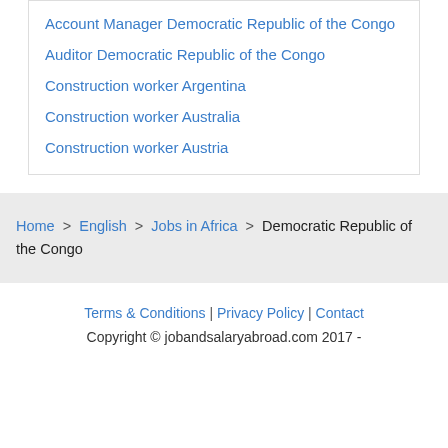Account Manager Democratic Republic of the Congo
Auditor Democratic Republic of the Congo
Construction worker Argentina
Construction worker Australia
Construction worker Austria
Home > English > Jobs in Africa > Democratic Republic of the Congo
Terms & Conditions | Privacy Policy | Contact
Copyright © jobandsalaryabroad.com 2017 -